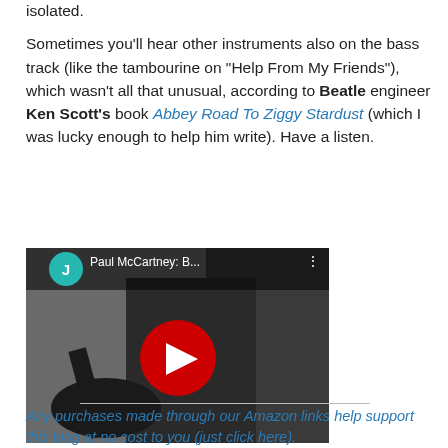isolated.
Sometimes you'll hear other instruments also on the bass track (like the tambourine on "Help From My Friends"), which wasn't all that unusual, according to Beatle engineer Ken Scott's book Abbey Road To Ziggy Stardust (which I was lucky enough to help him write). Have a listen.
[Figure (screenshot): YouTube video thumbnail showing a man playing bass guitar in black and white, with a red YouTube play button overlay. The video header shows a teal avatar with 'J' and the title 'Paul McCartney: B...']
Any purchases made through our Amazon links help support this blog at no cost to you (just click here).